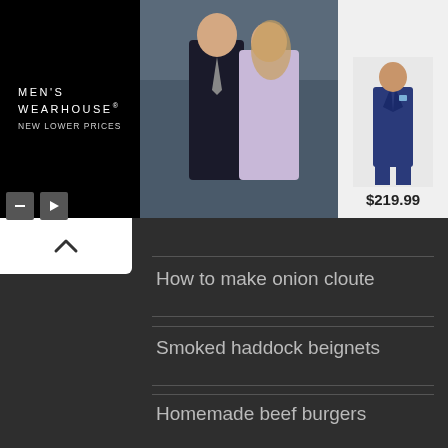[Figure (screenshot): Men's Wearhouse advertisement banner showing a couple in formal wear and a man in a blue suit priced at $219.99]
How to make onion cloute
Smoked haddock beignets
Homemade beef burgers
We use cookies to ensure that we give you the best experience on our website. If you continue to use this site we will assume that you are happy with it.